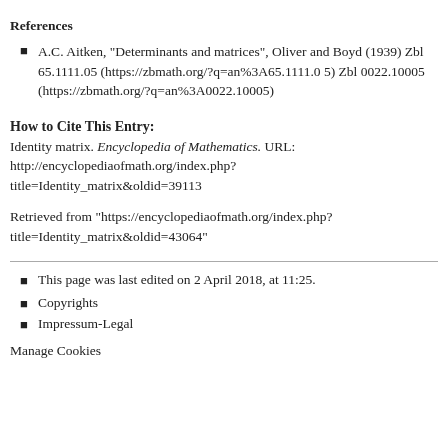References
A.C. Aitken, "Determinants and matrices", Oliver and Boyd (1939) Zbl 65.1111.05 (https://zbmath.org/?q=an%3A65.1111.05) Zbl 0022.10005 (https://zbmath.org/?q=an%3A0022.10005)
How to Cite This Entry:
Identity matrix. Encyclopedia of Mathematics. URL: http://encyclopediaofmath.org/index.php?title=Identity_matrix&oldid=39113
Retrieved from "https://encyclopediaofmath.org/index.php?title=Identity_matrix&oldid=43064"
This page was last edited on 2 April 2018, at 11:25.
Copyrights
Impressum-Legal
Manage Cookies